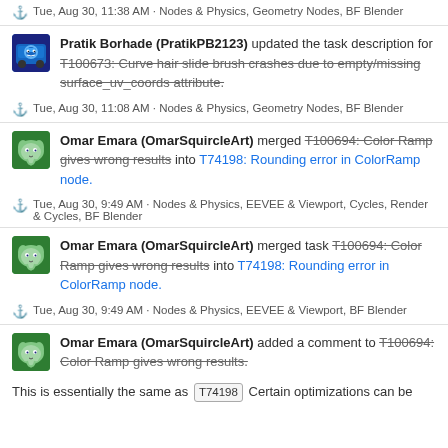⚓ Tue, Aug 30, 11:38 AM · Nodes & Physics, Geometry Nodes, BF Blender
Pratik Borhade (PratikPB2123) updated the task description for T100673: Curve hair slide brush crashes due to empty/missing surface_uv_coords attribute.
⚓ Tue, Aug 30, 11:08 AM · Nodes & Physics, Geometry Nodes, BF Blender
Omar Emara (OmarSquircleArt) merged T100694: Color Ramp gives wrong results into T74198: Rounding error in ColorRamp node.
⚓ Tue, Aug 30, 9:49 AM · Nodes & Physics, EEVEE & Viewport, Cycles, Render & Cycles, BF Blender
Omar Emara (OmarSquircleArt) merged task T100694: Color Ramp gives wrong results into T74198: Rounding error in ColorRamp node.
⚓ Tue, Aug 30, 9:49 AM · Nodes & Physics, EEVEE & Viewport, BF Blender
Omar Emara (OmarSquircleArt) added a comment to T100694: Color Ramp gives wrong results.
This is essentially the same as T74198 Certain optimizations can be